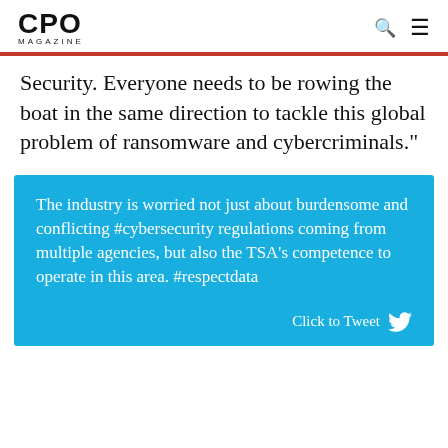CPO MAGAZINE
Security. Everyone needs to be rowing the boat in the same direction to tackle this global problem of ransomware and cybercriminals."
The industry is worried not just about burdensome and conflicting #cybersecurity regulations coming from multiple agencies, but also the TSA's competence to operate in this area. #respectdata

Click to Tweet